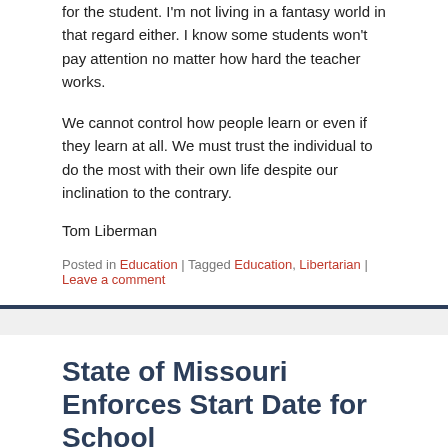for the student. I'm not living in a fantasy world in that regard either. I know some students won't pay attention no matter how hard the teacher works.
We cannot control how people learn or even if they learn at all. We must trust the individual to do the most with their own life despite our inclination to the contrary.
Tom Liberman
Posted in Education | Tagged Education, Libertarian | Leave a comment
State of Missouri Enforces Start Date for School
Posted on July 12, 2019
[Figure (photo): A road with dashed white center line markings on dark asphalt, viewed from a low angle.]
My home